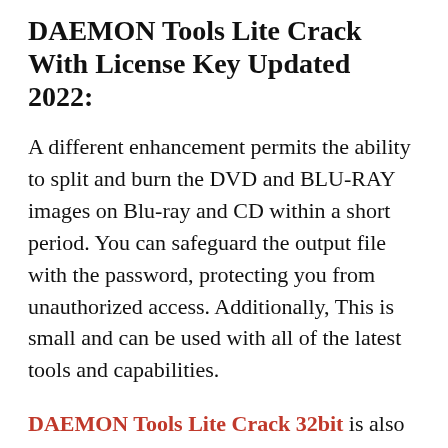DAEMON Tools Lite Crack With License Key Updated 2022:
A different enhancement permits the ability to split and burn the DVD and BLU-RAY images on Blu-ray and CD within a short period. You can safeguard the output file with the password, protecting you from unauthorized access. Additionally, This is small and can be used with all of the latest tools and capabilities.
DAEMON Tools Lite Crack 32bit is also the best product of Microsoft. Microsoft Company supplies fast and 100% accurate optical media emulation in multimedia. The most